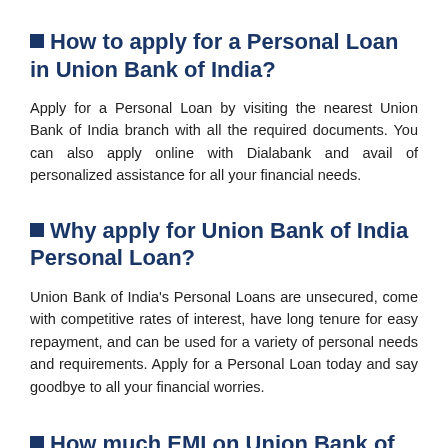❑ How to apply for a Personal Loan in Union Bank of India?
Apply for a Personal Loan by visiting the nearest Union Bank of India branch with all the required documents. You can also apply online with Dialabank and avail of personalized assistance for all your financial needs.
❑ Why apply for Union Bank of India Personal Loan?
Union Bank of India's Personal Loans are unsecured, come with competitive rates of interest, have long tenure for easy repayment, and can be used for a variety of personal needs and requirements. Apply for a Personal Loan today and say goodbye to all your financial worries.
❑ How much EMI on Union Bank of India